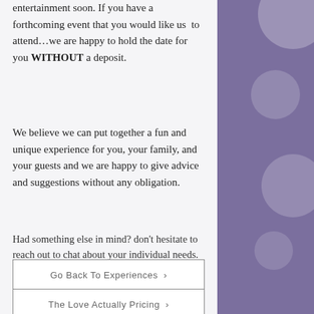entertainment soon. If you have a forthcoming event that you would like us  to attend…we are happy to hold the date for you WITHOUT a deposit.
We believe we can put together a fun and unique experience for you, your family, and your guests and we are happy to give advice and suggestions without any obligation.
Had something else in mind? don't hesitate to reach out to chat about your individual needs. We look forward to chatting with you soon.
Go Back To Experiences ›
The Love Actually Pricing ›